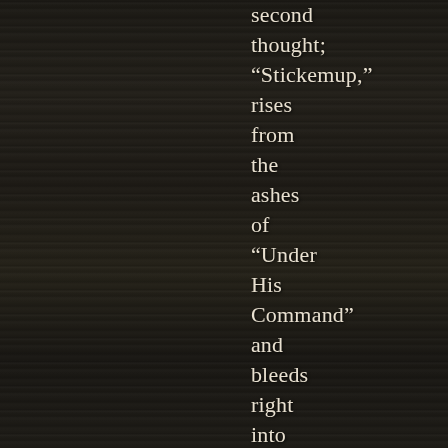second thought; “Stickemup,” rises from the ashes of “Under His Command” and bleeds right into “Gone Not Dead” and